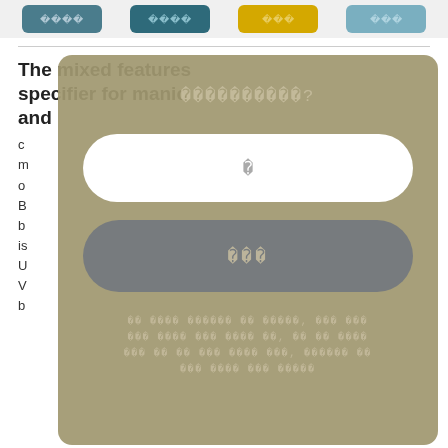[Figure (screenshot): Top strip with colored tag boxes representing categories, partially visible at top of page]
The mixed features specifier for manic and
Background body text partially obscured by modal overlay
[Figure (screenshot): Modal dialog overlay with olive/tan background, containing a question prompt with placeholder characters, a white rounded input field, a dark rounded button, and small footer text — all with unreadable/obfuscated characters shown as Unicode replacement symbols]